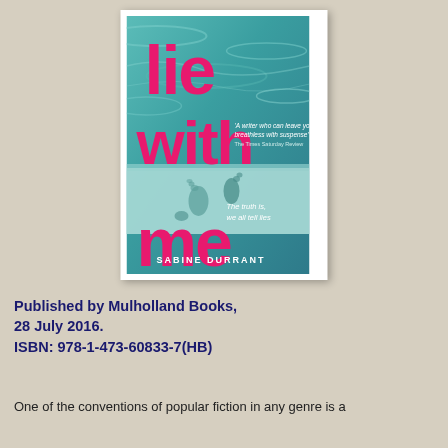[Figure (illustration): Book cover of 'Lie With Me' by Sabine Durrant. Teal/turquoise water background with large pink/magenta text reading 'lie with me'. Footprints visible in sand at the bottom half. Small white quote text: 'A writer who can leave you breathless with suspense'. Tagline: 'The truth is, we all tell lies'. Author name: SABINE DURRANT at bottom.]
Published by Mulholland Books, 28 July 2016.
ISBN: 978-1-473-60833-7(HB)
One of the conventions of popular fiction in any genre is a